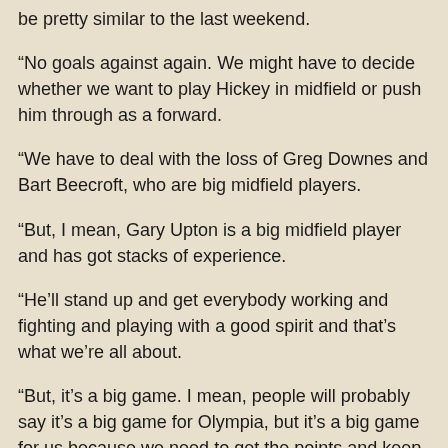be pretty similar to the last weekend.
“No goals against again. We might have to decide whether we want to play Hickey in midfield or push him through as a forward.
“We have to deal with the loss of Greg Downes and Bart Beecroft, who are big midfield players.
“But, I mean, Gary Upton is a big midfield player and has got stacks of experience.
“He’ll stand up and get everybody working and fighting and playing with a good spirit and that’s what we’re all about.
“But, it’s a big game. I mean, people will probably say it’s a big game for Olympia, but it’s a big game for us because we need to get the points and keep our undefeated record.
“I think it’ll be a good game. KGV is in good nick.”
Olympic slumped to second-last place on Sunday when they